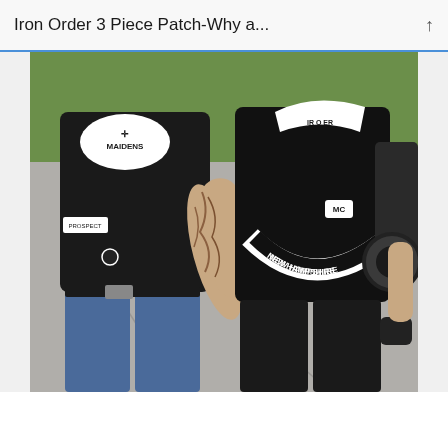Iron Order 3 Piece Patch-Why a...
[Figure (photo): Two men wearing black leather motorcycle club vests seen from behind. Left person wears vest with 'MAIDENS' top patch and a small bottom rocker. Right person wears vest with 'IRON ORDER' top patch (partially visible), 'MC' center patch, and 'NEW HAMPSHIRE' bottom rocker. Left person wears jeans, right person wears black jeans. A motorcycle is visible in the background on the right.]
Advertisements
Build a writing habit. Post on